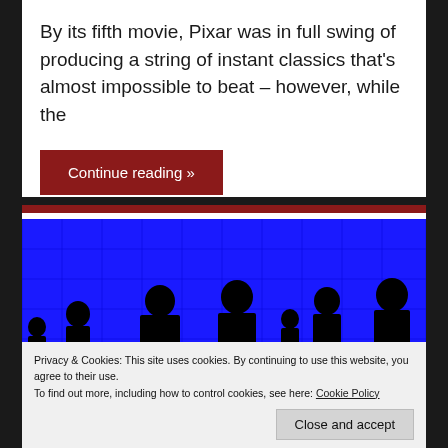By its fifth movie, Pixar was in full swing of producing a string of instant classics that's almost impossible to beat – however, while the
Continue reading »
[Figure (photo): Silhouettes of people seated at desks against a bright blue grid background]
Privacy & Cookies: This site uses cookies. By continuing to use this website, you agree to their use.
To find out more, including how to control cookies, see here: Cookie Policy
Close and accept
KILL BILL: VOL. 1